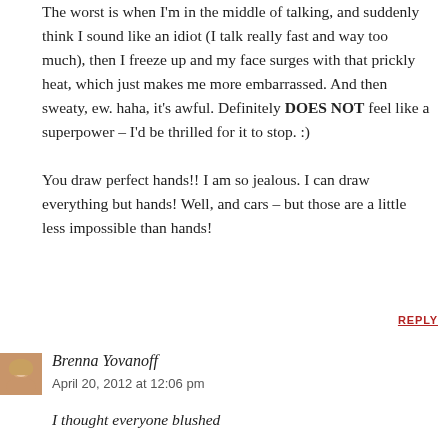The worst is when I'm in the middle of talking, and suddenly think I sound like an idiot (I talk really fast and way too much), then I freeze up and my face surges with that prickly heat, which just makes me more embarrassed. And then sweaty, ew. haha, it's awful. Definitely DOES NOT feel like a superpower – I'd be thrilled for it to stop. :)
You draw perfect hands!! I am so jealous. I can draw everything but hands! Well, and cars – but those are a little less impossible than hands!
REPLY
Brenna Yovanoff
April 20, 2012 at 12:06 pm
I thought everyone blushed